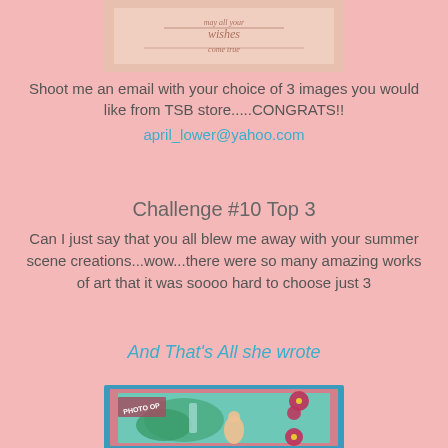[Figure (photo): A greeting card with handwritten-style text reading 'may all your wishes come true']
Shoot me an email with your choice of 3 images you would like from TSB store.....CONGRATS!!
april_lower@yahoo.com
Challenge #10 Top 3
Can I just say that you all blew me away with your summer scene creations...wow...there were so many amazing works of art that it was soooo hard to choose just 3
And That's All she wrote
[Figure (photo): A colorful craft card with tropical theme, showing a hula girl, waterfall, green foliage, pink flowers, and 'PHOTO OP' text on a teal/mint background with pink border]